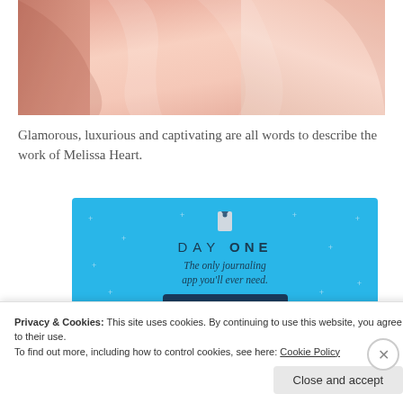[Figure (photo): Close-up photo of pink/salmon satin or silk fabric with flowing drape]
Glamorous, luxurious and captivating are all words to describe the work of Melissa Heart.
[Figure (other): Advertisement banner for Day One journaling app. Blue background with sparkling stars, app icon at top, text 'DAY ONE - The only journaling app you'll ever need.' and a 'Get the app' button.]
Privacy & Cookies: This site uses cookies. By continuing to use this website, you agree to their use.
To find out more, including how to control cookies, see here: Cookie Policy
Close and accept